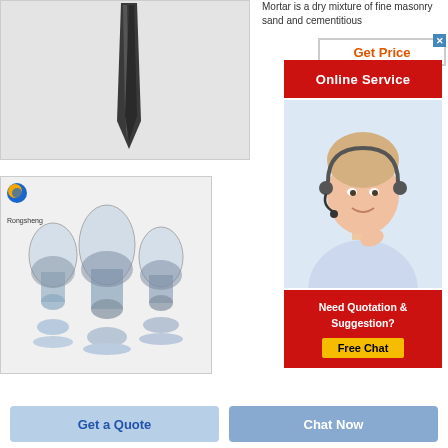[Figure (photo): Product image showing a dark pencil/spike shaped object on white/grey background]
[Figure (photo): Three transparent vials/bottles filled with blue-grey granular material, with a logo in top-left and brand label 'Rongsheng']
Mortar is a dry mixture of fine masonry sand and cementitious
[Figure (screenshot): Get Price button in orange text with border, followed by red Online Service button, then headset agent photo, then red Need Quotation & Suggestion box with yellow Free Chat button]
Get a Quote
Chat Now